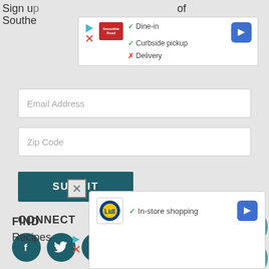Sign up of Southe
[Figure (screenshot): Popup card showing Smoothies Road logo with Dine-in checkmark, Curbside pickup checkmark, Delivery X mark, and blue navigation arrow button]
[Figure (screenshot): Email Address input field]
[Figure (screenshot): Zip Code input field]
[Figure (screenshot): SUBMIT dark teal button]
CONNECT
[Figure (screenshot): Row of social media icons: Facebook, Twitter, Instagram, Pinterest, YouTube, Email on dark teal circular backgrounds]
[Figure (screenshot): Floating hamburger menu button (teal circle) and up-arrow button (teal circle) on right side]
[Figure (screenshot): SHARE & SAVE dark teal circular button]
[Figure (screenshot): X close box icon]
[Figure (screenshot): Bottom popup card with Lidl logo showing In-store shopping checkmark and blue navigation arrow button]
FIND
Recipes